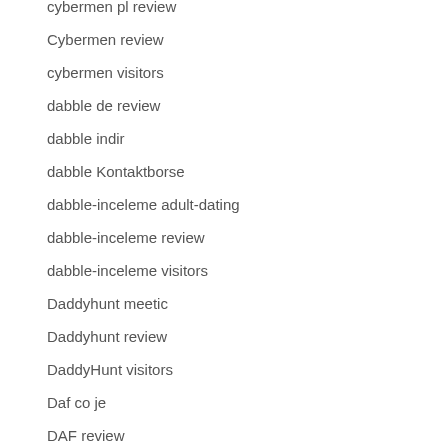cybermen pl review
Cybermen review
cybermen visitors
dabble de review
dabble indir
dabble Kontaktborse
dabble-inceleme adult-dating
dabble-inceleme review
dabble-inceleme visitors
Daddyhunt meetic
Daddyhunt review
DaddyHunt visitors
Daf co je
DAF review
dallas eros escort